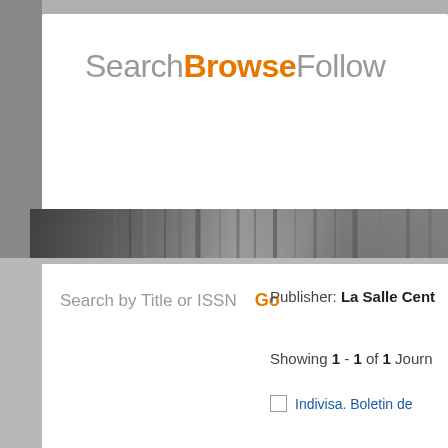SearchBrowseFollow
[Figure (screenshot): JournalTOCs website hero banner showing 'Welcome to JournalTOCs – Where researchers keep up-to-date' over a blurred journal shelves background image]
Search   Subjects A-Z   Publishers A-Z   Customise   AP
Journals    Articles    HOME > Browse by Publ
Search by Title or ISSN   Go
Publisher: La Salle Cent
Showing 1 - 1 of 1 Journ
Indivisa. Boletin de